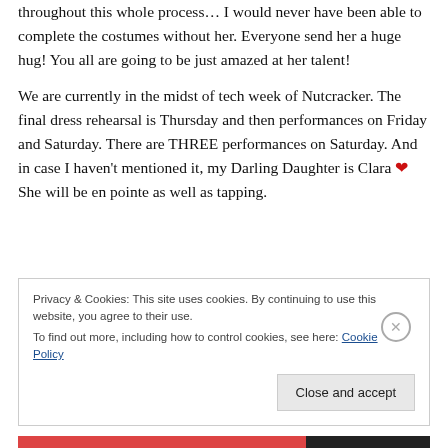throughout this whole process… I would never have been able to complete the costumes without her. Everyone send her a huge hug! You all are going to be just amazed at her talent!
We are currently in the midst of tech week of Nutcracker. The final dress rehearsal is Thursday and then performances on Friday and Saturday. There are THREE performances on Saturday. And in case I haven't mentioned it, my Darling Daughter is Clara ❤ She will be en pointe as well as tapping.
Privacy & Cookies: This site uses cookies. By continuing to use this website, you agree to their use. To find out more, including how to control cookies, see here: Cookie Policy